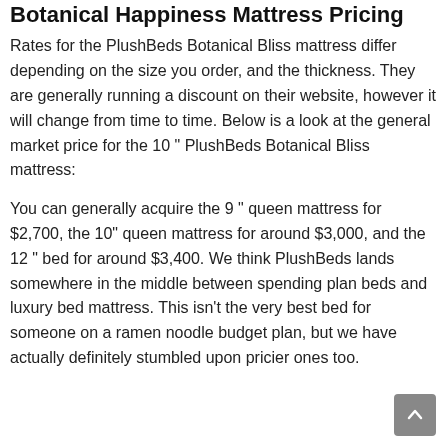Botanical Happiness Mattress Pricing
Rates for the PlushBeds Botanical Bliss mattress differ depending on the size you order, and the thickness. They are generally running a discount on their website, however it will change from time to time. Below is a look at the general market price for the 10 " PlushBeds Botanical Bliss mattress:
You can generally acquire the 9 " queen mattress for $2,700, the 10" queen mattress for around $3,000, and the 12 " bed for around $3,400. We think PlushBeds lands somewhere in the middle between spending plan beds and luxury bed mattress. This isn’t the very best bed for someone on a ramen noodle budget plan, but we have actually definitely stumbled upon pricier ones too.